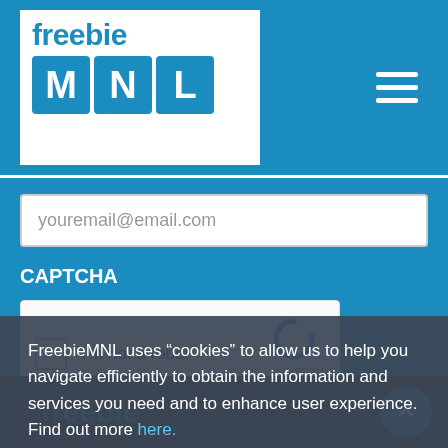[Figure (logo): FreebieMNL logo: white box with 'freebie' in blue text and MNL letters in blue boxes]
youremail@email.com
CAPTCHA
[Figure (screenshot): reCAPTCHA widget with checkbox 'I'm not a robot' and reCAPTCHA logo, Privacy - Terms links]
FreebieMNL uses “cookies” to allow us to help you navigate efficiently to obtain the information and services you need and to enhance user experience. Find out more here.
Okay
freebie